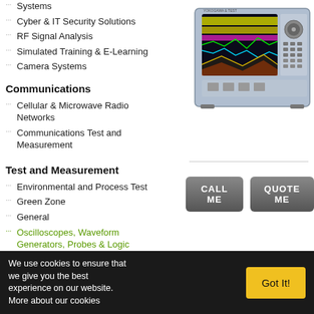Systems
Cyber & IT Security Solutions
RF Signal Analysis
Simulated Training & E-Learning
Camera Systems
[Figure (photo): RF spectrum analyzer / test and measurement instrument with colorful waveform display]
Communications
Cellular & Microwave Radio Networks
Communications Test and Measurement
Test and Measurement
Environmental and Process Test
Green Zone
General
Oscilloscopes, Waveform Generators, Probes & Logic Analyzers
We use cookies to ensure that we give you the best experience on our website. More about our cookies
Got It!